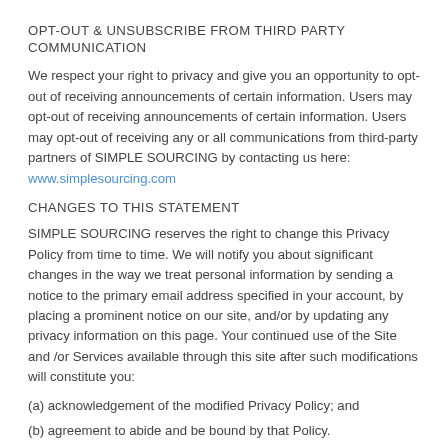OPT-OUT & UNSUBSCRIBE FROM THIRD PARTY COMMUNICATION
We respect your right to privacy and give you an opportunity to opt-out of receiving announcements of certain information. Users may opt-out of receiving announcements of certain information. Users may opt-out of receiving any or all communications from third-party partners of SIMPLE SOURCING by contacting us here: www.simplesourcing.com
CHANGES TO THIS STATEMENT
SIMPLE SOURCING reserves the right to change this Privacy Policy from time to time. We will notify you about significant changes in the way we treat personal information by sending a notice to the primary email address specified in your account, by placing a prominent notice on our site, and/or by updating any privacy information on this page. Your continued use of the Site and /or Services available through this site after such modifications will constitute you:
(a) acknowledgement of the modified Privacy Policy; and
(b) agreement to abide and be bound by that Policy.
CONTACT INFORMATION: